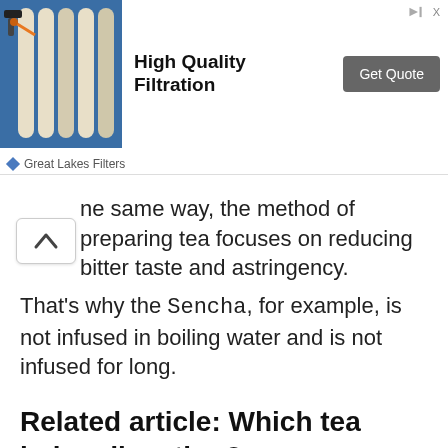[Figure (other): Advertisement banner for High Quality Filtration by Great Lakes Filters, showing filter tubes image on the left, bold title 'High Quality Filtration' in center, and 'Get Quote' button on right.]
ne same way, the method of preparing tea focuses on reducing bitter taste and astringency.
That's why the Sencha, for example, is not infused in boiling water and is not infused for long.
Related article: Which tea helps digestion?
Astringency in tea.